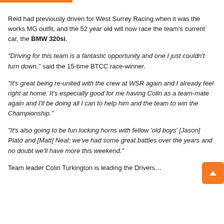Reid had previously driven for West Surrey Racing when it was the works MG outfit, and the 52 year old will now race the team's current car, the BMW 320si.
“Driving for this team is a fantastic opportunity and one I just couldn’t turn down,” said the 15-time BTCC race-winner.
“It’s great being re-united with the crew at WSR again and I already feel right at home. It’s especially good for me having Colin as a team-mate again and I’ll be doing all I can to help him and the team to win the Championship.”
“It’s also going to be fun locking horns with fellow ‘old boys’ [Jason] Plato and [Matt] Neal; we’ve had some great battles over the years and no doubt we’ll have more this weekend.”
Team leader Colin Turkington is leading the Drivers…